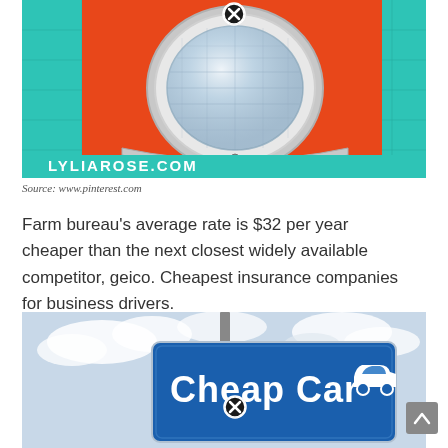[Figure (photo): Close-up photo of a vintage orange car headlight with chrome trim, set against a teal/green grid background. A close button (circle with X) is visible in the upper area. Website watermark 'LYLIAROSE.COM' appears at the bottom of the image.]
Source: www.pinterest.com
Farm bureau's average rate is $32 per year cheaper than the next closest widely available competitor, geico. Cheapest insurance companies for business drivers.
[Figure (photo): Photo of a blue road sign reading 'Cheap Car' with a car icon, set against a cloudy sky background. A close button (circle with X) is visible overlaid on the sign.]